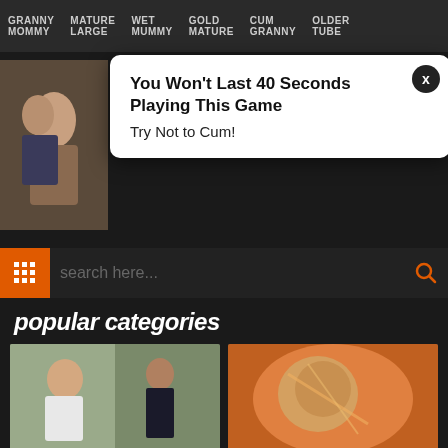GRANNY MOMMY | MATURE LARGE | WET MUMMY | GOLD MATURE | CUM GRANNY | OLDER TUBE
[Figure (screenshot): Popup advertisement overlay on adult website. Bold text reads: You Won't Last 40 Seconds Playing This Game. Subtext: Try Not to Cum! Close button (x) in top right.]
[Figure (photo): Thumbnail image on left side under navigation]
search here...
popular categories
[Figure (photo): MILF category thumbnail showing two people]
MILF (164826)
[Figure (photo): Amateur category thumbnail showing close-up]
Amateur (112946)
[Figure (photo): Category thumbnail bottom left showing couple]
[Figure (photo): Category thumbnail bottom right]